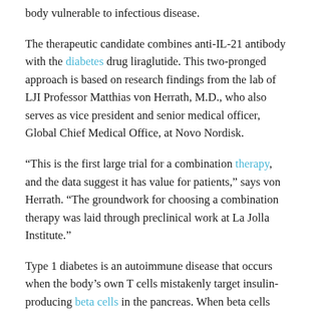body vulnerable to infectious disease.
The therapeutic candidate combines anti-IL-21 antibody with the diabetes drug liraglutide. This two-pronged approach is based on research findings from the lab of LJI Professor Matthias von Herrath, M.D., who also serves as vice president and senior medical officer, Global Chief Medical Office, at Novo Nordisk.
“This is the first large trial for a combination therapy, and the data suggest it has value for patients,” says von Herrath. “The groundwork for choosing a combination therapy was laid through preclinical work at La Jolla Institute.”
Type 1 diabetes is an autoimmune disease that occurs when the body’s own T cells mistakenly target insulin-producing beta cells in the pancreas. When beta cells die, the body loses its ability to regulate glucose levels, which can eventually lead to severe organ damage and death.
One challenge in treating type 1 diabetes is that therapies targeting “system-wide” T cell responses also run the risk of hindering the immune system’s ability to fight real threats, such as viruses and